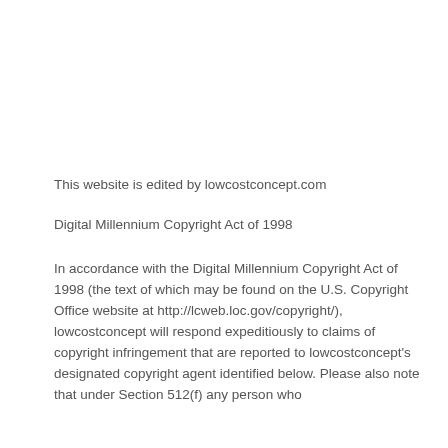This website is edited by lowcostconcept.com
Digital Millennium Copyright Act of 1998
In accordance with the Digital Millennium Copyright Act of 1998 (the text of which may be found on the U.S. Copyright Office website at http://lcweb.loc.gov/copyright/), lowcostconcept will respond expeditiously to claims of copyright infringement that are reported to lowcostconcept's designated copyright agent identified below. Please also note that under Section 512(f) any person who